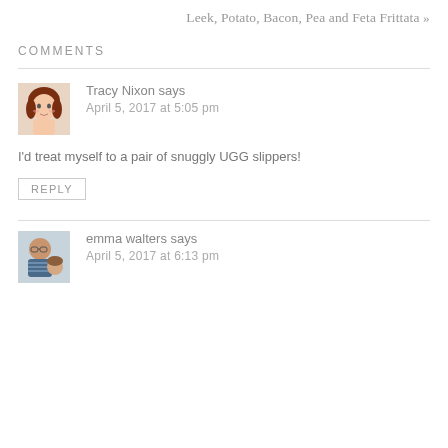Leek, Potato, Bacon, Pea and Feta Frittata »
COMMENTS
Tracy Nixon says
April 5, 2017 at 5:05 pm

I'd treat myself to a pair of snuggly UGG slippers!
REPLY
emma walters says
April 5, 2017 at 6:13 pm